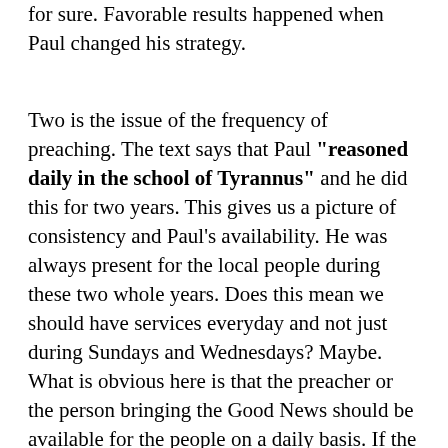for sure. Favorable results happened when Paul changed his strategy.
Two is the issue of the frequency of preaching. The text says that Paul "reasoned daily in the school of Tyrannus" and he did this for two years. This gives us a picture of consistency and Paul's availability. He was always present for the local people during these two whole years. Does this mean we should have services everyday and not just during Sundays and Wednesdays? Maybe. What is obvious here is that the preacher or the person bringing the Good News should be available for the people on a daily basis. If the non-believer knows that the bearer of the gospel is available everyday and any day, then it is most likely that that person will be willing to open up his or her life to the message of the gospel and listen to the